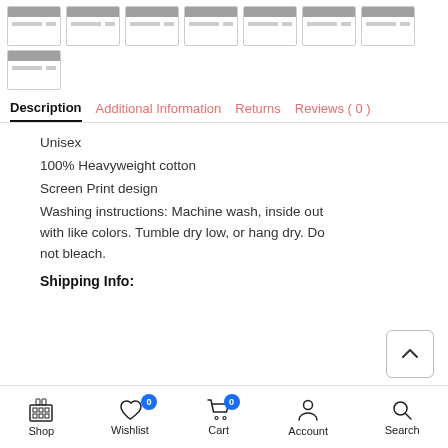[Figure (screenshot): Row of 7 small thumbnail cards with gray header bars and light gray lines, plus one additional thumbnail below on the left]
Description | Additional Information | Returns | Reviews ( 0 )
Unisex
100% Heavyweight cotton
Screen Print design
Washing instructions: Machine wash, inside out with like colors. Tumble dry low, or hang dry. Do not bleach.
Shipping Info:
[Figure (screenshot): Scroll-to-top button with upward chevron arrow, positioned at bottom right]
Shop | Wishlist 0 | Cart 0 | Account | Search